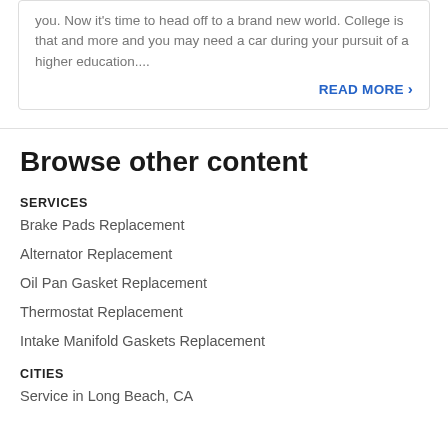you. Now it's time to head off to a brand new world. College is that and more and you may need a car during your pursuit of a higher education....
READ MORE >
Browse other content
SERVICES
Brake Pads Replacement
Alternator Replacement
Oil Pan Gasket Replacement
Thermostat Replacement
Intake Manifold Gaskets Replacement
CITIES
Service in Long Beach, CA